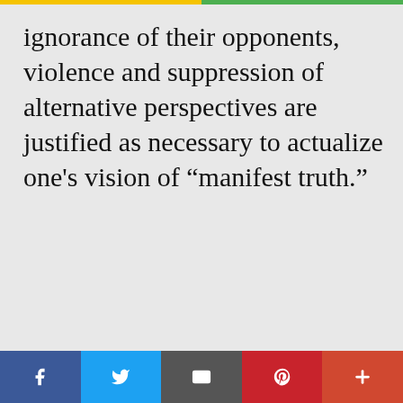ignorance of their opponents, violence and suppression of alternative perspectives are justified as necessary to actualize one’s vision of “manifest truth.”
We use cookies on our website to give you the most relevant experience by remembering your preferences and repeat visits. By clicking “Accept All”, you consent to the use of ALL the cookies. However, you may visit "Cookie Settings" to provide a controlled consent.